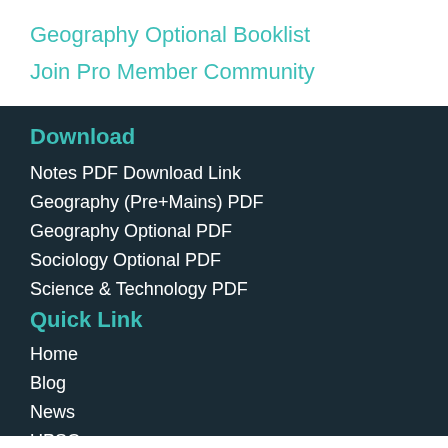Geography Optional Booklist
Join Pro Member Community
Download
Notes PDF Download Link
Geography (Pre+Mains) PDF
Geography Optional PDF
Sociology Optional PDF
Science & Technology PDF
Quick Link
Home
Blog
News
UPSC
Store